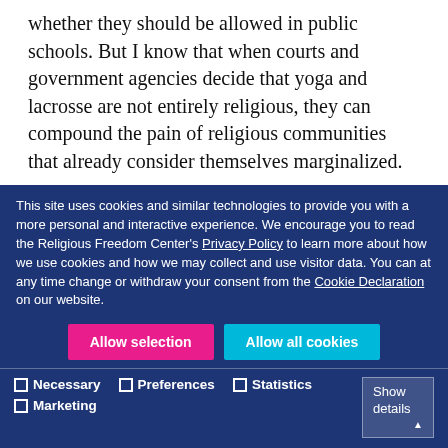whether they should be allowed in public schools. But I know that when courts and government agencies decide that yoga and lacrosse are not entirely religious, they can compound the pain of religious communities that already consider themselves marginalized.
Back to Bladensburg. The Supreme Court affirmed the religious significance of the Latin cross, but they also suggested that the cross might be understood as both a religious and secular symbol in certain contexts. That
This site uses cookies and similar technologies to provide you with a more personal and interactive experience. We encourage you to read the Religious Freedom Center's Privacy Policy to learn more about how we use cookies and how we may collect and use visitor data. You can at any time change or withdraw your consent from the Cookie Declaration on our website.